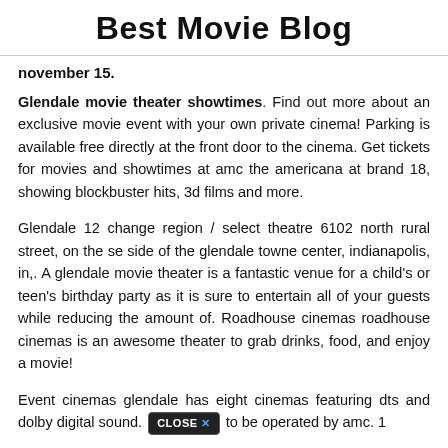Best Movie Blog
november 15.
Glendale movie theater showtimes. Find out more about an exclusive movie event with your own private cinema! Parking is available free directly at the front door to the cinema. Get tickets for movies and showtimes at amc the americana at brand 18, showing blockbuster hits, 3d films and more.
Glendale 12 change region / select theatre 6102 north rural street, on the se side of the glendale towne center, indianapolis, in,. A glendale movie theater is a fantastic venue for a child's or teen's birthday party as it is sure to entertain all of your guests while reducing the amount of. Roadhouse cinemas roadhouse cinemas is an awesome theater to grab drinks, food, and enjoy a movie!
Event cinemas glendale has eight cinemas featuring dts and dolby digital sound. [CLOSE X] to be operated by amc. 1